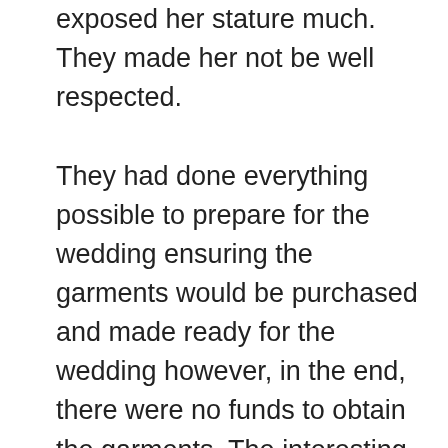exposed her stature much. They made her not be well respected.

They had done everything possible to prepare for the wedding ensuring the garments would be purchased and made ready for the wedding however, in the end, there were no funds to obtain the garments. The interesting thing was that funds were available for every other thing in relation to the wedding.
Someone out of the kindness of their heart later brought beautiful wedding garments for the couple, HalleluYAH HalleluYAH, HalleluYAH  The couple looked so beautiful, stunning  after they had put on the correct garments for the wedding. The focus was on the bride who was now wearing